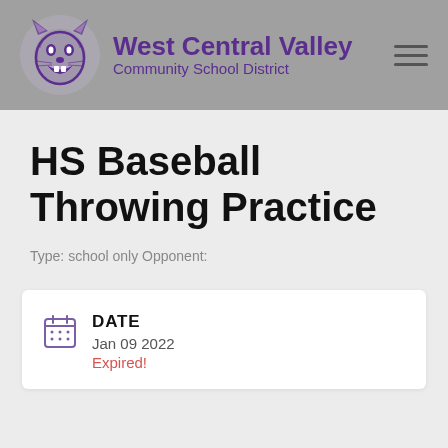[Figure (logo): West Central Valley Community School District logo with wildcat mascot and purple text]
HS Baseball Throwing Practice
Type: school only Opponent:
DATE
Jan 09 2022
Expired!